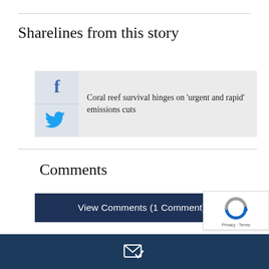Sharelines from this story
[Figure (infographic): Social share card with Facebook and Twitter icons alongside the text: Coral reef survival hinges on ‘urgent and rapid’ emissions cuts]
Comments
View Comments (1 Comment)
[Figure (logo): reCAPTCHA badge with Privacy and Terms links]
[Figure (illustration): Dark blue footer bar with envelope/mail icon]